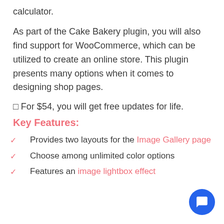calculator.
As part of the Cake Bakery plugin, you will also find support for WooCommerce, which can be utilized to create an online store. This plugin presents many options when it comes to designing shop pages.
✓ For $54, you will get free updates for life.
Key Features:
Provides two layouts for the Image Gallery page
Choose among unlimited color options
Features an image lightbox effect